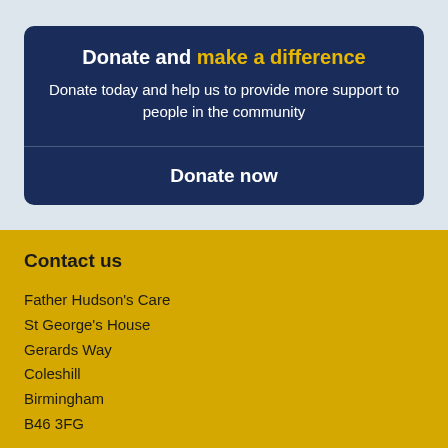Donate and make a difference
Donate today and help us to provide more support to people in the community
Donate now
Contact us
Father Hudson's Care
St George's House
Gerards Way
Coleshill
Birmingham
B46 3FG
Who we are